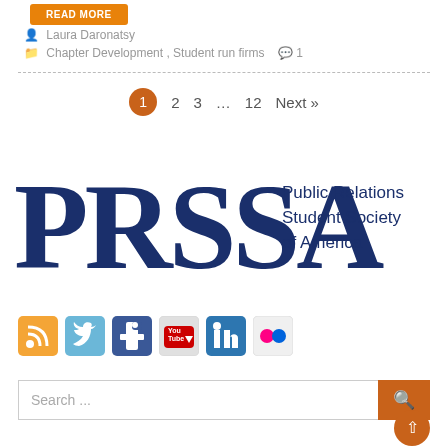READ MORE
Laura Daronatsy
Chapter Development , Student run firms  1
1  2  3  ...  12  Next »
[Figure (logo): PRSSA - Public Relations Student Society of America logo in dark navy blue]
[Figure (infographic): Social media icons: RSS, Twitter, Facebook, YouTube, LinkedIn, Flickr]
Search ...